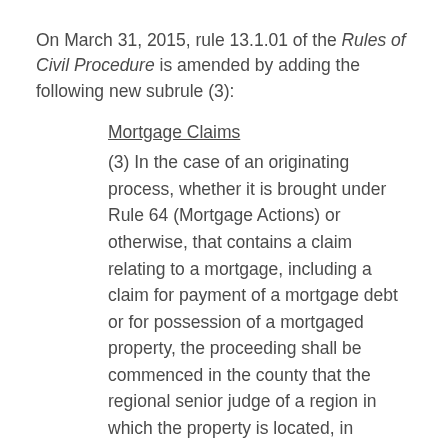On March 31, 2015, rule 13.1.01 of the Rules of Civil Procedure is amended by adding the following new subrule (3):
Mortgage Claims
(3) In the case of an originating process, whether it is brought under Rule 64 (Mortgage Actions) or otherwise, that contains a claim relating to a mortgage, including a claim for payment of a mortgage debt or for possession of a mortgaged property, the proceeding shall be commenced in the county that the regional senior judge of a region in which the property is located, in whole or in part, designates within that region for such claims...